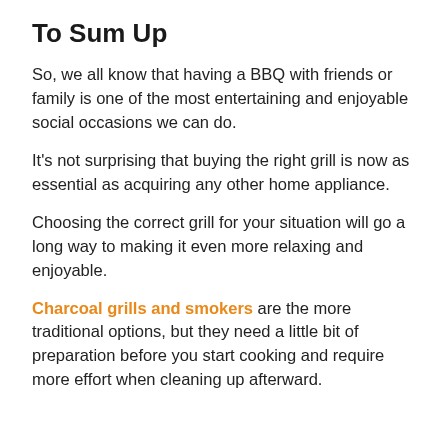To Sum Up
So, we all know that having a BBQ with friends or family is one of the most entertaining and enjoyable social occasions we can do.
It's not surprising that buying the right grill is now as essential as acquiring any other home appliance.
Choosing the correct grill for your situation will go a long way to making it even more relaxing and enjoyable.
Charcoal grills and smokers are the more traditional options, but they need a little bit of preparation before you start cooking and require more effort when cleaning up afterward.